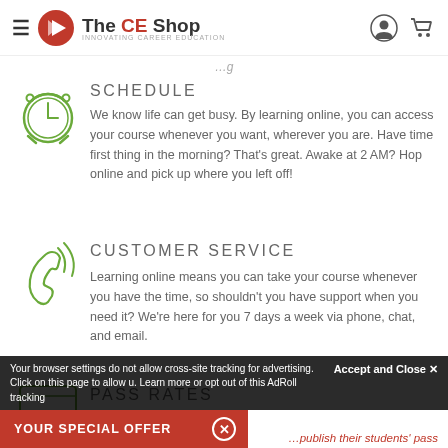The CE Shop — header with menu, logo, account, cart icons
SCHEDULE
We know life can get busy. By learning online, you can access your course whenever you want, wherever you are. Have time first thing in the morning? That's great. Awake at 2 AM? Hop online and pick up where you left off!
CUSTOMER SERVICE
Learning online means you can take your course whenever you have the time, so shouldn't you have support when you need it? We're here for you 7 days a week via phone, chat, and email.
PASS RATES
Your browser settings do not allow cross-site tracking for advertising. Click on this page to allow u. Learn more or opt out of this AdRoll tracking
YOUR SPECIAL OFFER
Accept and Close ✕
…publish their students' pass